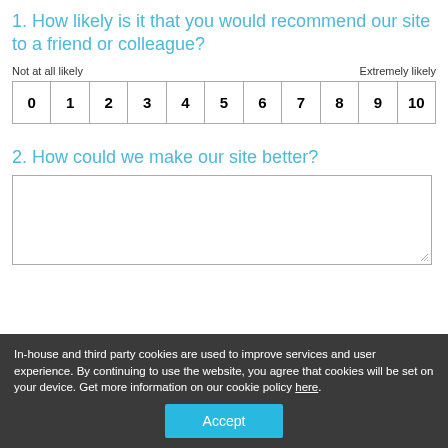1. How likely is it that you would recommend our site to a friend or colleague?
Not at all likely                                                         Extremely likely
| 0 | 1 | 2 | 3 | 4 | 5 | 6 | 7 | 8 | 9 | 10 |
| --- | --- | --- | --- | --- | --- | --- | --- | --- | --- | --- |
2. How could we make our site better?
[text area]
In-house and third party cookies are used to improve services and user experience. By continuing to use the website, you agree that cookies will be set on your device. Get more information on our cookie policy here.
Accept